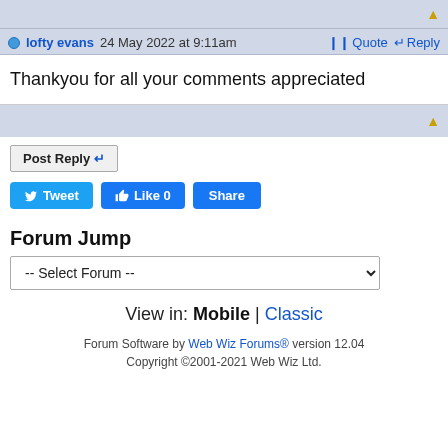lofty evans 24 May 2022 at 9:11am
Quote Reply
Thankyou for all your comments appreciated
Post Reply
Tweet Like 0 Share
Forum Jump
-- Select Forum --
View in: Mobile | Classic
Forum Software by Web Wiz Forums® version 12.04
Copyright ©2001-2021 Web Wiz Ltd.